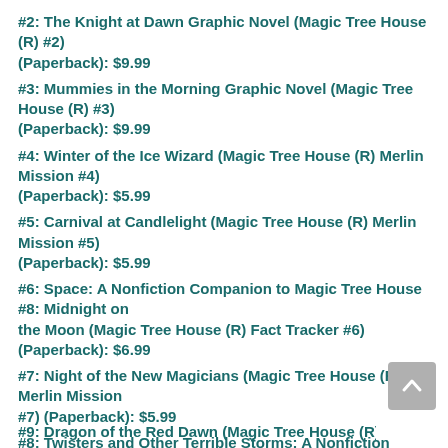#2: The Knight at Dawn Graphic Novel (Magic Tree House (R) #2) (Paperback): $9.99
#3: Mummies in the Morning Graphic Novel (Magic Tree House (R) #3) (Paperback): $9.99
#4: Winter of the Ice Wizard (Magic Tree House (R) Merlin Mission #4) (Paperback): $5.99
#5: Carnival at Candlelight (Magic Tree House (R) Merlin Mission #5) (Paperback): $5.99
#6: Space: A Nonfiction Companion to Magic Tree House #8: Midnight on the Moon (Magic Tree House (R) Fact Tracker #6) (Paperback): $6.99
#7: Night of the New Magicians (Magic Tree House (R) Merlin Mission #7) (Paperback): $5.99
#8: Twisters and Other Terrible Storms: A Nonfiction Companion to Magic Tree House #23: Twister on Tuesday (Magic Tree House (R) Fact Tracker #8) (Paperback): $6.99
#9: Dragon of the Red Dawn (Magic Tree House (R) Merlin Mission #9)